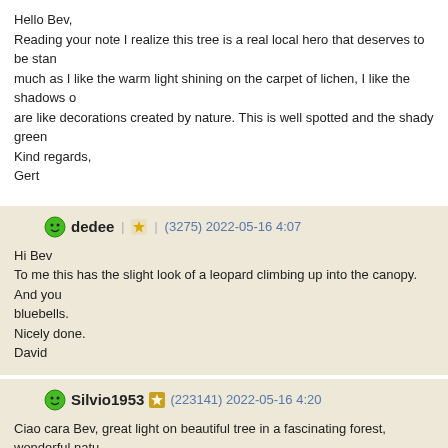Hello Bev,
Reading your note I realize this tree is a real local hero that deserves to be star... much as I like the warm light shining on the carpet of lichen, I like the shadows o... are like decorations created by nature. This is well spotted and the shady green...
Kind regards,
Gert
dedee | (3275) 2022-05-16 4:07
Hi Bev
To me this has the slight look of a leopard climbing up into the canopy. And you... bluebells.
Nicely done.
David
Silvio1953 (223141) 2022-05-16 4:20
Ciao cara Bev, great light on beautiful tree in a fascinating forest, wonderful natu... very well done, my friend, ciao Silvio
PaulVDV (63580) 2022-05-16 4:32
Hello Beverley,
Your note explains very clearly why dead trees are still important in the forest...